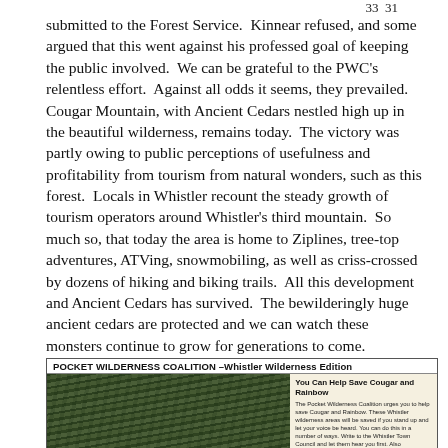33  31
submitted to the Forest Service.  Kinnear refused, and some argued that this went against his professed goal of keeping the public involved.  We can be grateful to the PWC's relentless effort.  Against all odds it seems, they prevailed.  Cougar Mountain, with Ancient Cedars nestled high up in the beautiful wilderness, remains today.  The victory was partly owing to public perceptions of usefulness and profitability from tourism from natural wonders, such as this forest.  Locals in Whistler recount the steady growth of tourism operators around Whistler's third mountain.  So much so, that today the area is home to Ziplines, tree-top adventures, ATVing, snowmobiling, as well as criss-crossed by dozens of hiking and biking trails.  All this development and Ancient Cedars has survived.  The bewilderingly huge ancient cedars are protected and we can watch these monsters continue to grow for generations to come.
[Figure (other): Newspaper clipping: POCKET WILDERNESS COALITION – Whistler Wilderness Edition. Left side shows a photograph of dense ancient cedar forest. Right side has headline 'You Can Help Save Cougar and Rainbow' with body text about the Pocket Wilderness Coalition urging people to help save Cougar and Rainbow wilderness areas.]